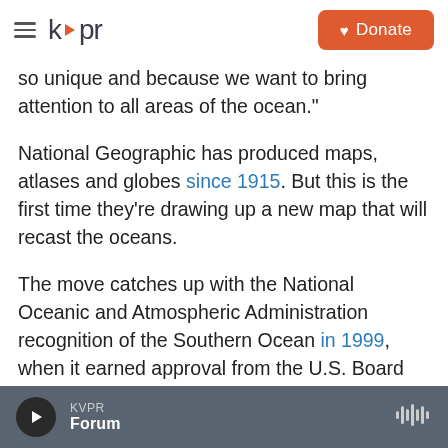kvpr | Donate
so unique and because we want to bring attention to all areas of the ocean."
National Geographic has produced maps, atlases and globes since 1915. But this is the first time they're drawing up a new map that will recast the oceans.
The move catches up with the National Oceanic and Atmospheric Administration recognition of the Southern Ocean in 1999, when it earned approval from the U.S. Board on Geographic Names.
KVPR Forum